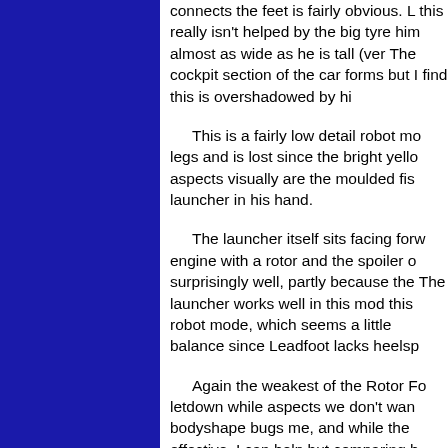connects the feet is fairly obvious. L this really isn't helped by the big tyre him almost as wide as he is tall (ver The cockpit section of the car forms but I find this is overshadowed by hi
This is a fairly low detail robot mo legs and is lost since the bright yello aspects visually are the moulded fis launcher in his hand.
The launcher itself sits facing forw engine with a rotor and the spoiler o surprisingly well, partly because the The launcher works well in this mod this robot mode, which seems a little balance since Leadfoot lacks heelsp
Again the weakest of the Rotor Fo letdown while aspects we don't wan bodyshape bugs me, and while the effective, I can help but comparing h and feeling a little disappointed.
VARIAT